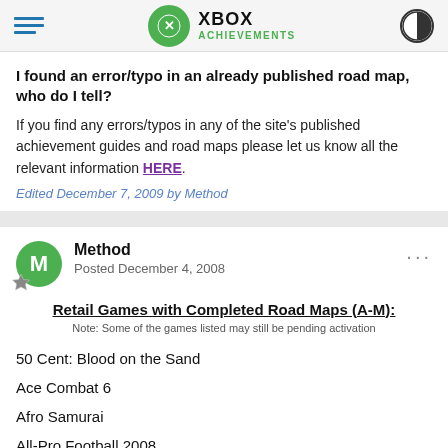XBOX ACHIEVEMENTS
I found an error/typo in an already published road map, who do I tell?
If you find any errors/typos in any of the site's published achievement guides and road maps please let us know all the relevant information HERE.
Edited December 7, 2009 by Method
Method
Posted December 4, 2008
Retail Games with Completed Road Maps (A-M):
Note: Some of the games listed may still be pending activation
50 Cent: Blood on the Sand
Ace Combat 6
Afro Samurai
All-Pro Football 2008